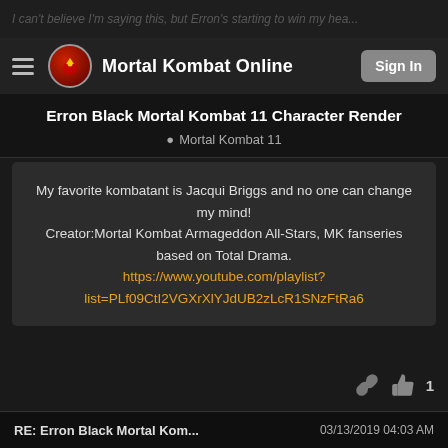Mortal Kombat Online — Sign In
Erron Black Mortal Kombat 11 Character Render
Mortal Kombat 11
My favorite kombatant is Jacqui Briggs and no one can change my mind!
Creator:Mortal Kombat Armageddon All-Stars, MK fanseries based on Total Drama.
https://www.youtube.com/playlist?list=PLf09CtI2VGXrXlYJdUB2zLcR1SNzFtRa6
OnagaDragonKing
@OnagaDragonKing
RE: Erron Black Mortal Kom... 03/13/2019 04:03 AM